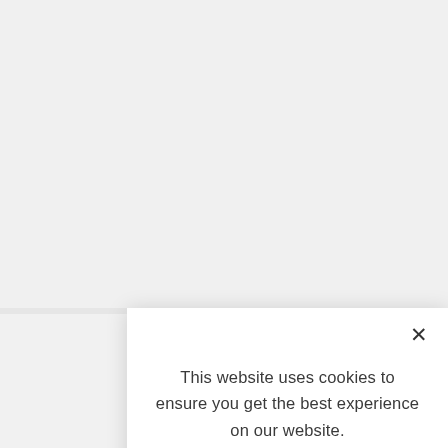In th... to u... own... rent...
Ever... tran... inse...
[Figure (screenshot): Cookie consent modal dialog overlaying a webpage. The modal contains the message 'This website uses cookies to ensure you get the best experience on our website.' followed by a 'LEARN MORE.' link in bold and an 'ACCEPT COOKIES' button. A close (X) button is in the top-right corner of the modal.]